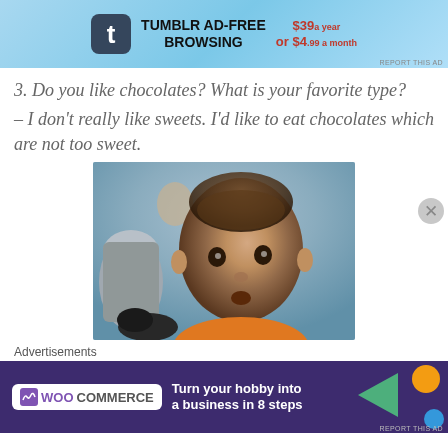[Figure (screenshot): Tumblr Ad-Free Browsing advertisement banner at top of page]
3. Do you like chocolates? What is your favorite type?
– I don't really like sweets. I'd like to eat chocolates which are not too sweet.
[Figure (photo): Photo of a baby with chocolate on their head/face, looking at camera]
Advertisements
[Figure (screenshot): WooCommerce advertisement: Turn your hobby into a business in 8 steps]